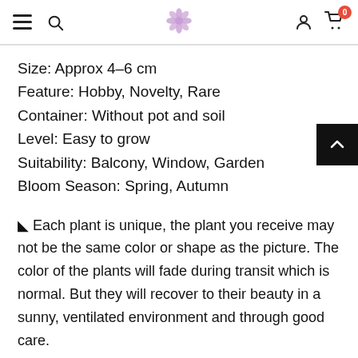Navigation header with hamburger menu, search icon, flower logo, user icon, and cart with 0 items
Size: Approx 4–6 cm
Feature: Hobby, Novelty, Rare
Container: Without pot and soil
Level: Easy to grow
Suitability: Balcony, Window, Garden
Bloom Season: Spring, Autumn
✿ Each plant is unique, the plant you receive may not be the same color or shape as the picture. The color of the plants will fade during transit which is normal. But they will recover to their beauty in a sunny, ventilated environment and through good care.